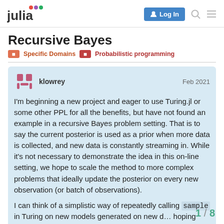Julia Discourse — Log In
Recursive Bayes
Specific Domains   Probabilistic programming
klowrey   Feb 2021
I'm beginning a new project and eager to use Turing.jl or some other PPL for all the benefits, but have not found an example in a recursive Bayes problem setting. That is to say the current posterior is used as a prior when more data is collected, and new data is constantly streaming in. While it's not necessary to demonstrate the idea in this on-line setting, we hope to scale the method to more complex problems that ideally update the posterior on every new observation (or batch of observations).
I can think of a simplistic way of repeatedly calling sample in Turing on new models generated on new d... hoping there was something more streaml...
1 / 8